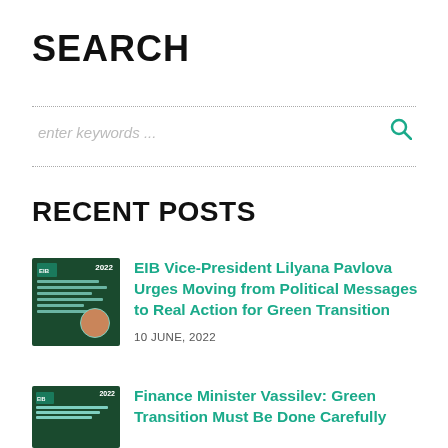SEARCH
enter keywords ...
RECENT POSTS
EIB Vice-President Lilyana Pavlova Urges Moving from Political Messages to Real Action for Green Transition
10 JUNE, 2022
Finance Minister Vassilev: Green Transition Must Be Done Carefully